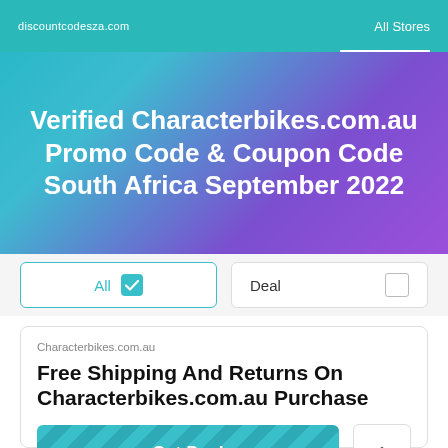discountcodesza.com    All Stores
Verified Characterbikes.com.au Promo Code & Coupon Code South Africa September 2022
All  ✓    Deal  □
Characterbikes.com.au
Free Shipping And Returns On Characterbikes.com.au Purchase
Get Deal
Expires 30-11-22